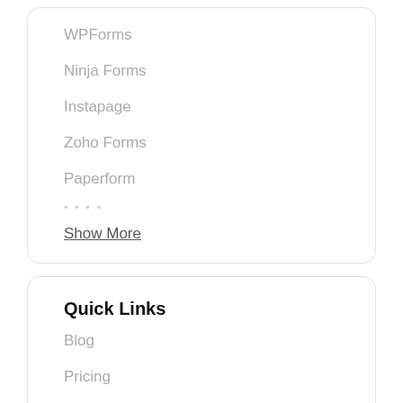WPForms
Ninja Forms
Instapage
Zoho Forms
Paperform
Show More
Quick Links
Blog
Pricing
See 1 Click Integrations
All Apps
Request Integrations
Videos & Help